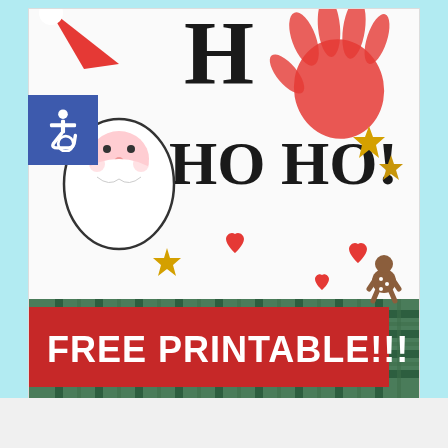[Figure (photo): Christmas craft photo showing a 'HO HO HO!' handprint art printable. Features a red child's handprint forming Santa's beard area, a drawn Santa face with white beard, gold glitter stars, red heart gems, gingerbread man cookies, and a green plaid fabric background. At the bottom is a red banner with white text reading 'FREE PRINTABLE!!!'. An accessibility icon (wheelchair symbol on blue background) is overlaid in the upper left corner.]